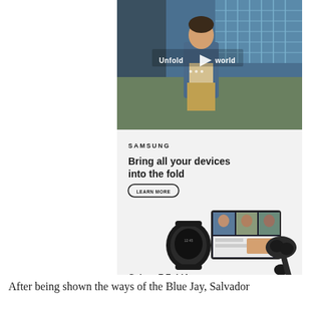[Figure (screenshot): Video thumbnail showing a young man in a blue denim jacket walking in what appears to be a school cafeteria, with play button overlay and text 'Unfold your world']
[Figure (screenshot): Samsung advertisement for Galaxy Z Fold4 with headline 'Bring all your devices into the fold', LEARN MORE button, and product image showing smartwatch, foldable phone, and earbuds]
POWERED BY CONCERT   FEEDBACK
After being shown the ways of the Blue Jay, Salvador